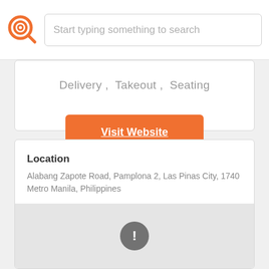Start typing something to search
Delivery , Takeout , Seating
Visit Website
Location
Alabang Zapote Road, Pamplona 2, Las Pinas City, 1740 Metro Manila, Philippines
[Figure (map): Map placeholder with error icon indicating map could not load]